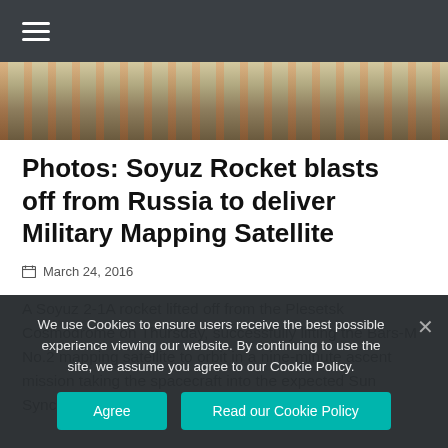≡ (navigation menu)
[Figure (photo): Partial view of a rocket or spacecraft at the top of the article, cropped image strip]
Photos: Soyuz Rocket blasts off from Russia to deliver Military Mapping Satellite
March 24, 2016
A Soyuz 2-1A rocket lifted off from the Plesetsk Cosmodrome on Thursday, successfully lifting the Bars-M No.2 mapping satellite to orbit in a nine-minute ascent mission taking the spacecraft into the expected Sun Synchronous Orbit.
We use Cookies to ensure users receive the best possible experience viewing our website. By continuing to use the site, we assume you agree to our Cookie Policy.